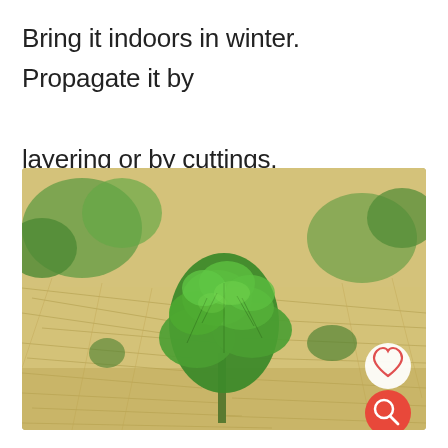Bring it indoors in winter.  Propagate it by layering or by cuttings.
[Figure (photo): A green leafy mint plant growing from dry straw/hay ground cover, with other green plants visible in the background. A heart icon button and a magnifying glass search button overlay the bottom-right corner of the photo.]